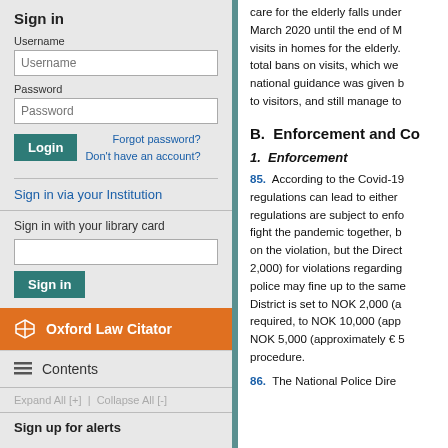Sign in
Username
Password
Forgot password? Don't have an account?
Sign in via your Institution
Sign in with your library card
Oxford Law Citator
Contents
Expand All [+]  |  Collapse All [-]
Sign up for alerts
care for the elderly falls unde... March 2020 until the end of M... visits in homes for the elderly. total bans on visits, which we... national guidance was given b... to visitors, and still manage to...
B.  Enforcement and Co...
1.  Enforcement
85.  According to the Covid-19... regulations can lead to either... regulations are subject to enfo... fight the pandemic together, b... on the violation, but the Direct... 2,000) for violations regarding... police may fine up to the same... District is set to NOK 2,000 (a... required, to NOK 10,000 (app... NOK 5,000 (approximately € 5... procedure.
86.  The National Police Dire...